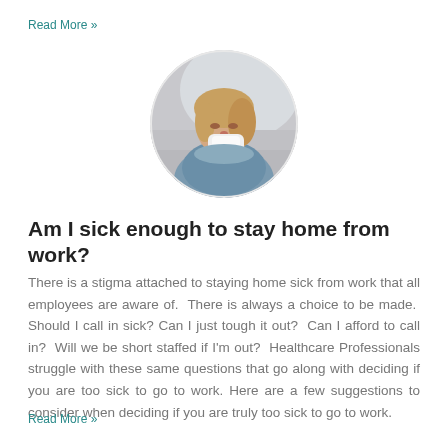Read More »
[Figure (photo): Circular photo of a woman blowing her nose into a tissue, appearing to be sick, seated on a couch.]
Am I sick enough to stay home from work?
There is a stigma attached to staying home sick from work that all employees are aware of.  There is always a choice to be made.  Should I call in sick? Can I just tough it out?  Can I afford to call in?  Will we be short staffed if I'm out?  Healthcare Professionals struggle with these same questions that go along with deciding if you are too sick to go to work. Here are a few suggestions to consider when deciding if you are truly too sick to go to work.
Read More »